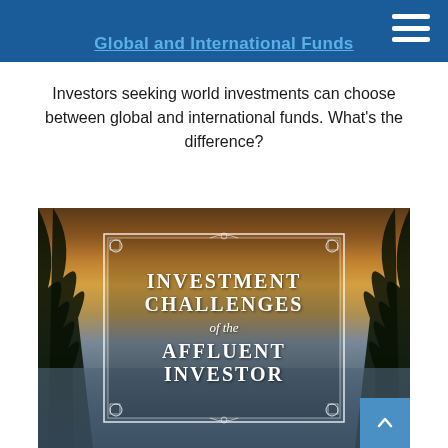Global and International Funds
Investors seeking world investments can choose between global and international funds. What's the difference?
[Figure (illustration): Tropical sunset scene with palm trees and a reflecting pool, overlaid with a decorative bordered frame containing the text 'INVESTMENT CHALLENGES of the AFFLUENT INVESTOR']